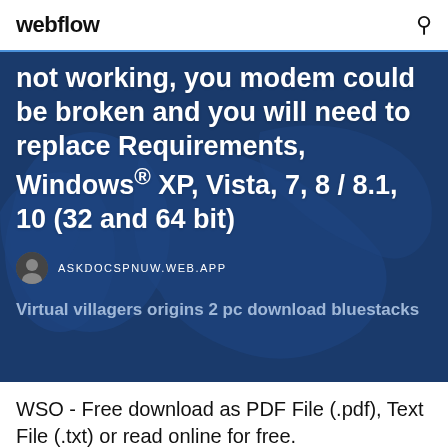webflow
[Figure (screenshot): Hero image with dark blue world map background and white text overlay showing partial article text about modem troubleshooting and Windows requirements]
not working, you modem could be broken and you will need to replace Requirements, Windows® XP, Vista, 7, 8 / 8.1, 10 (32 and 64 bit)
ASKDOCSPNUW.WEB.APP
Virtual villagers origins 2 pc download bluestacks
WSO - Free download as PDF File (.pdf), Text File (.txt) or read online for free.